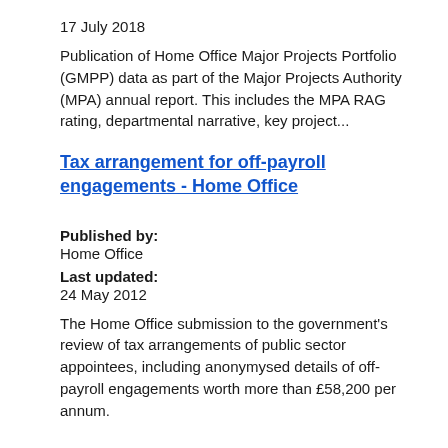17 July 2018
Publication of Home Office Major Projects Portfolio (GMPP) data as part of the Major Projects Authority (MPA) annual report. This includes the MPA RAG rating, departmental narrative, key project...
Tax arrangement for off-payroll engagements - Home Office
Published by:
Home Office
Last updated:
24 May 2012
The Home Office submission to the government's review of tax arrangements of public sector appointees, including anonymysed details of off-payroll engagements worth more than £58,200 per annum.